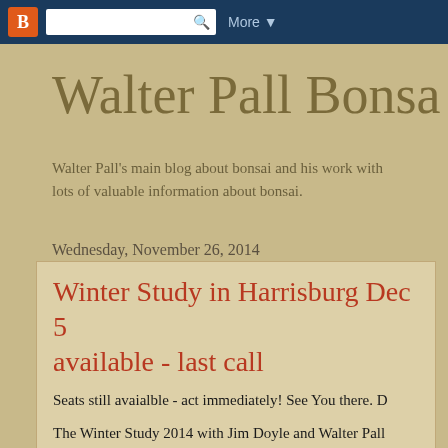Blogger | More ▼
Walter Pall Bonsa
Walter Pall's main blog about bonsai and his work with lots of valuable information about bonsai.
Wednesday, November 26, 2014
Winter Study in Harrisburg Dec 5 available - last call
Seats still avaialble - act immediately! See You there.
The Winter Study 2014 with Jim Doyle and Walter Pall 5 to 7. It s part of the International Bonsai Academy.